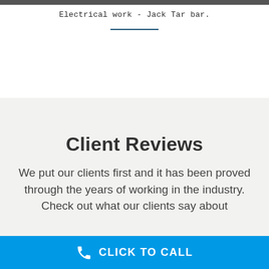[Figure (photo): Photograph strip at top of page showing electrical work at Jack Tar bar]
Electrical work - Jack Tar bar.
Client Reviews
We put our clients first and it has been proved through the years of working in the industry. Check out what our clients say about